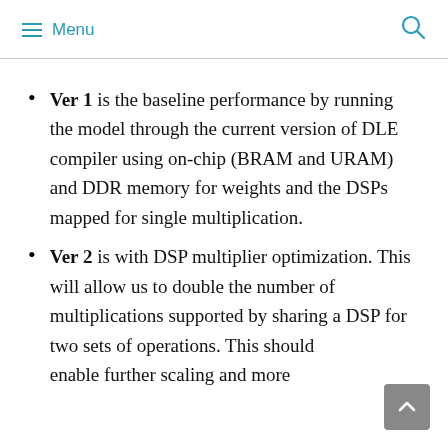Menu
Ver 1 is the baseline performance by running the model through the current version of DLE compiler using on-chip (BRAM and URAM) and DDR memory for weights and the DSPs mapped for single multiplication.
Ver 2 is with DSP multiplier optimization. This will allow us to double the number of multiplications supported by sharing a DSP for two sets of operations. This should enable further scaling and more